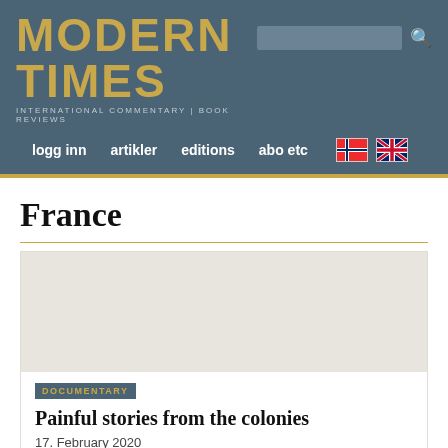MODERN TIMES — INTERNATIONAL COMMENTARY | BOOK REVIEWS
[Figure (screenshot): Website navigation header with logo 'MODERN TIMES', subtitle 'INTERNATIONAL COMMENTARY | BOOK REVIEWS', search bar, nav items: logg inn, artikler, editions, abo etc, Norwegian flag, UK flag]
France
DOCUMENTARY
Painful stories from the colonies
17. February 2020